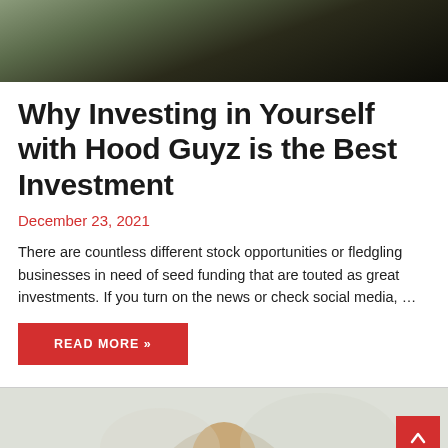[Figure (photo): Outdoor landscape photo with dark moody tones, mountains or hills in background, dark sky]
Why Investing in Yourself with Hood Guyz is the Best Investment
December 23, 2021
There are countless different stock opportunities or fledgling businesses in need of seed funding that are touted as great investments. If you turn on the news or check social media, …
READ MORE »
[Figure (photo): Partial photo showing a man's face/head, blurred outdoor background]